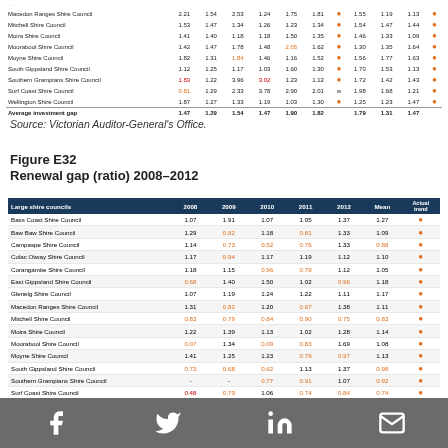|  | 2008 | 2009 | 2010 | 2011 | 2012 | Mean |  | Actual trend |
| --- | --- | --- | --- | --- | --- | --- | --- | --- |
| Macedon Ranges Shire Council | 2.21 | 1.54 | 2.53 | 1.24 | 1.75 | 1.81 |  | 1.55 | 1.19 | 1.13 | ● |
| Mitchell Shire Council | 1.53 | 1.47 | 1.34 | 1.26 | 1.23 | 1.34 |  | 1.54 | 1.47 | 1.44 | ● |
| Moira Shire Council | 1.41 | 1.47 | 1.18 | 1.18 | 1.50 | 1.35 |  | 1.46 | 1.33 | 1.09 | ● |
| Moorabool Shire Council | 1.42 | 1.47 | 1.78 | 1.48 | 2.05 | 1.62 |  | 1.30 | 1.35 | 1.64 | ● |
| Moyne Shire Council | 1.82 | 1.31 | 1.84 | 1.46 | 1.16 | 1.52 |  | 1.56 | 1.77 | 1.63 | ● |
| South Gippsland Shire Council | 1.12 | 1.25 | 1.17 | 1.03 | 1.60 | 1.30 |  | 1.70 | 1.53 | 1.13 | ● |
| Southern Grampians Shire Council | 1.83 | 1.22 | 3.96 | 3.02 | 1.23 | 1.12 |  | 1.72 | 1.42 | 1.43 | ● |
| Surf Coast Shire Council | 0.81 | 1.29 | 2.33 | 3.78 | 2.90 | 2.01 | w | 1.98 | 1.68 | 1.21 | ● |
| Wellington Shire Council | 1.87 | 1.27 | 1.33 | 1.19 | 1.03 | 1.30 |  | 1.25 | 1.23 | 1.47 | ● |
| Average investment gap | 1.47 | 1.29 | 1.54 | 1.47 | 1.90 | 1.82 |  | 1.79 | 1.31 | 1.47 |  |
Source: Victorian Auditor-General's Office.
Figure E32
Renewal gap (ratio) 2008–2012
| Large shire councils | 2008 | 2009 | 2010 | 2011 | 2012 | Mean | Actual trend |
| --- | --- | --- | --- | --- | --- | --- | --- |
| Bass Coast Shire Council | 1.07 | 1.91 | 1.07 | 1.05 | 1.37 | 1.27 | ● |
| Baw Baw Shire Council | 1.29 | 0.82 | 1.18 | 0.81 | 1.33 | 1.09 | ● |
| Campaspe Shire Council | 1.14 | 0.73 | 0.52 | 0.76 | 1.33 | 0.88 | ● |
| Colac Otway Shire Council | 1.17 | 0.94 | 1.17 | 1.19 | 1.12 | 1.10 | ● |
| Corangamite Shire Council | 1.18 | 1.15 | 0.96 | 0.79 | 1.12 | 1.05 | ● |
| East Gippsland Shire Council | 0.68 | 1.40 | 1.50 | 1.02 | 0.96 | 1.18 | ● |
| Glenelg Shire Council | 1.07 | 1.19 | 1.24 | 1.22 | 1.11 | 1.17 | ● |
| Macedon Ranges Shire Council | 1.31 | 0.82 | 1.20 | 0.67 | 1.38 | 1.11 | ● |
| Mitchell Shire Council | 0.83 | 0.79 | 0.84 | 0.90 | 0.75 | 0.83 | ● |
| Moira Shire Council | 1.22 | 1.39 | 1.13 | 1.02 | 1.28 | 1.14 | ● |
| Moorabool Shire Council | 0.07 | 1.34 | 0.09 | 0.83 | 1.69 | 1.08 | ● |
| Moyne Shire Council | 1.41 | 1.25 | 1.23 | 0.79 | 0.97 | 1.13 | ● |
| South Gippsland Shire Council | 0.73 | 0.68 | 0.62 | 1.13 | 1.37 | 0.98 | ● |
| Southern Grampians Shire Council | - | - | 0.77 | 0.91 | 1.07 | 0.92 | ● |
| Surf Coast Shire Council | 0.48 | 0.79 | 1.06 | 0.74 | 0.84 | 0.74 | ● |
| Wellington Shire Council | 1.58 | 1.20 | 1.19 | 0.86 | 0.92 | 1.17 | ● |
Social media icons: Facebook, Twitter, LinkedIn, Email